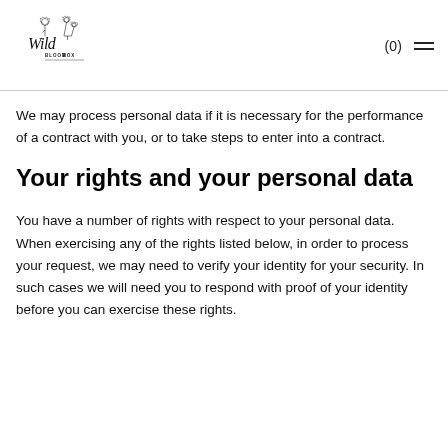Wild Bloom Box — (0) menu
We may process personal data if it is necessary for the performance of a contract with you, or to take steps to enter into a contract.
Your rights and your personal data
You have a number of rights with respect to your personal data. When exercising any of the rights listed below, in order to process your request, we may need to verify your identity for your security. In such cases we will need you to respond with proof of your identity before you can exercise these rights.